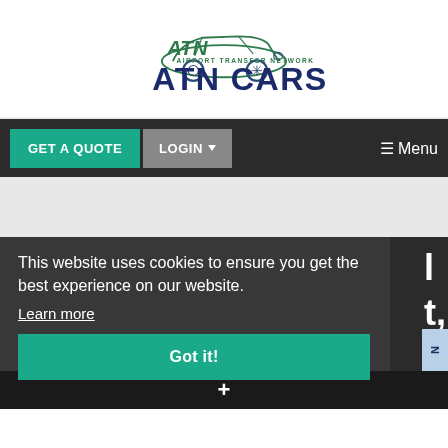[Figure (logo): ATN Cars - Airport Transfer Network logo with green car graphic and dark blue text]
GET A QUOTE
LOGIN
☰ Menu
This website uses cookies to ensure you get the best experience on our website.
Learn more
Got it!
+